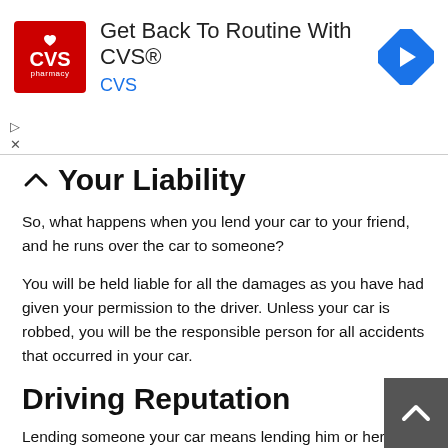[Figure (other): CVS Pharmacy advertisement banner: 'Get Back To Routine With CVS®' with CVS logo and navigation arrow icon]
Your Liability
So, what happens when you lend your car to your friend, and he runs over the car to someone?
You will be held liable for all the damages as you have had given your permission to the driver. Unless your car is robbed, you will be the responsible person for all accidents that occurred in your car.
Driving Reputation
Lending someone your car means lending him or her your good driving reputation as well. Any occurrences such as-